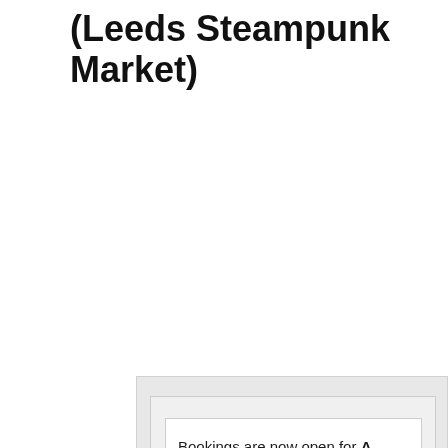(Leeds Steampunk Market)
[Figure (other): Nested card/frame graphic with light grey background layers, containing event booking information]
Bookings are now open for A Return to Middleton! (Leeds Steampunk Market)
Date: 6th & 7th July 2019
Location: Middlet...